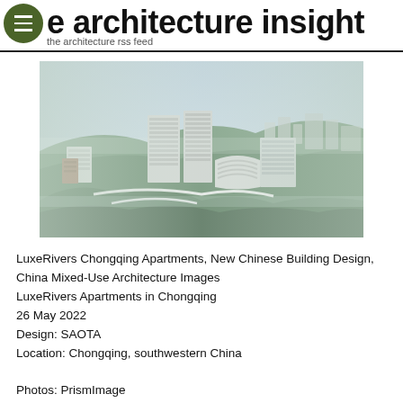the architecture insight
the architecture rss feed
[Figure (photo): Aerial/bird's-eye view rendering of LuxeRivers Chongqing Apartments complex showing multiple modern residential buildings with terraced architecture set into a hillside surrounded by green trees and mist.]
LuxeRivers Chongqing Apartments, New Chinese Building Design, China Mixed-Use Architecture Images
LuxeRivers Apartments in Chongqing
26 May 2022
Design: SAOTA
Location: Chongqing, southwestern China

Photos: PrismImage
LuxeRivers, China